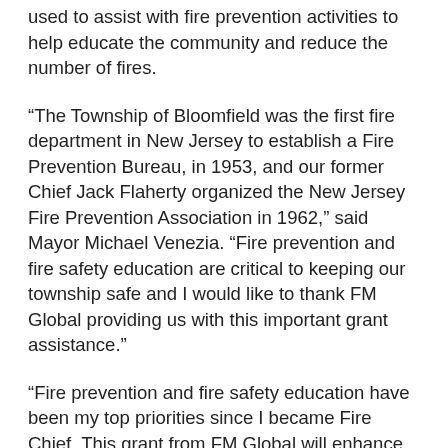used to assist with fire prevention activities to help educate the community and reduce the number of fires.
“The Township of Bloomfield was the first fire department in New Jersey to establish a Fire Prevention Bureau, in 1953, and our former Chief Jack Flaherty organized the New Jersey Fire Prevention Association in 1962,” said Mayor Michael Venezia. “Fire prevention and fire safety education are critical to keeping our township safe and I would like to thank FM Global providing us with this important grant assistance.”
“Fire prevention and fire safety education have been my top priorities since I became Fire Chief. This grant from FM Global will enhance our fire safety education programs and overall ability to serve the community,” said Fire Chief Louis Venezia. “I am very proud to see our hard work be recognized and thank FM Global for their assistance.”
“At FM Global, we strongly believe the majority of property damage is preventable, not inevitable,” said Michael Spaziani, assistant vice president – manager of